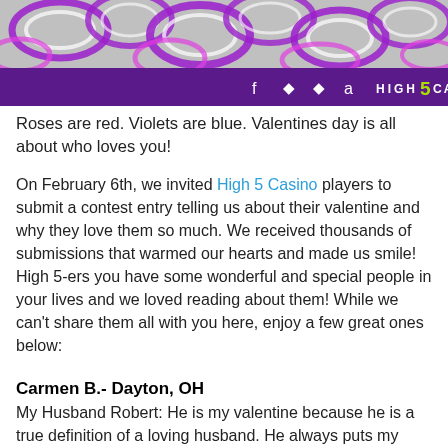[Figure (illustration): Decorative header with purple swirling abstract pattern on top and a purple bar with social media icons (Facebook, Android, Apple, Amazon) and the High 5 Casino logo in white text with a green '5'.]
Roses are red. Violets are blue. Valentines day is all about who loves you!
On February 6th, we invited High 5 Casino players to submit a contest entry telling us about their valentine and why they love them so much. We received thousands of submissions that warmed our hearts and made us smile! High 5-ers you have some wonderful and special people in your lives and we loved reading about them! While we can't share them all with you here, enjoy a few great ones below:
Carmen B.- Dayton, OH
My Husband Robert: He is my valentine because he is a true definition of a loving husband. He always puts my